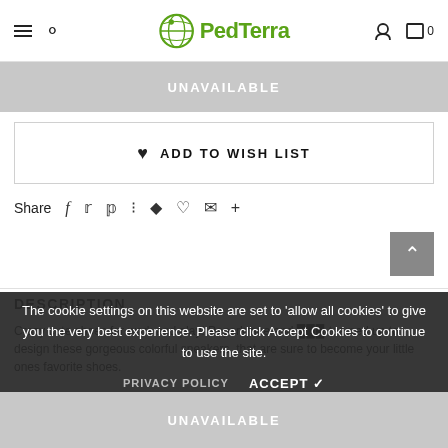PedTerra
UNAVAILABLE
♥ ADD TO WISH LIST
Share  f  t  p  ⊞  ♟  ♡  ✉  +
DESCRIPTION
Crazy cute shoes for work and play! Paperkrane and ??? teamed up to design these gorgeous colorful sneakers, that are sure to become your little ones favorite shoes.
The cookie settings on this website are set to 'allow all cookies' to give you the very best experience. Please click Accept Cookies to continue to use the site.
UNAVAILABLE